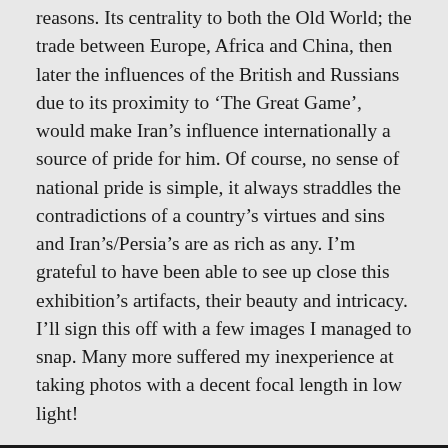reasons. Its centrality to both the Old World; the trade between Europe, Africa and China, then later the influences of the British and Russians due to its proximity to ‘The Great Game’, would make Iran’s influence internationally a source of pride for him. Of course, no sense of national pride is simple, it always straddles the contradictions of a country’s virtues and sins and Iran’s/Persia’s are as rich as any. I’m grateful to have been able to see up close this exhibition’s artifacts, their beauty and intricacy. I’ll sign this off with a few images I managed to snap. Many more suffered my inexperience at taking photos with a decent focal length in low light!